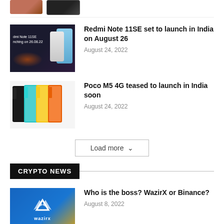[Figure (photo): Partial view of two smartphones at the top of the page, cropped]
[Figure (photo): Redmi Note 11SE promotional image showing multiple phones on dark background with text 'dmi Note 11SE nching on 26.08.22']
Redmi Note 11SE set to launch in India on August 26
August 24, 2022
[Figure (photo): Poco M5 4G phones shown in multiple colors: black, teal, yellow, orange]
Poco M5 4G teased to launch in India soon
August 24, 2022
Load more ∨
CRYPTO NEWS
[Figure (logo): WazirX logo on blue and yellow gradient background]
Who is the boss? WazirX or Binance?
August 8, 2022